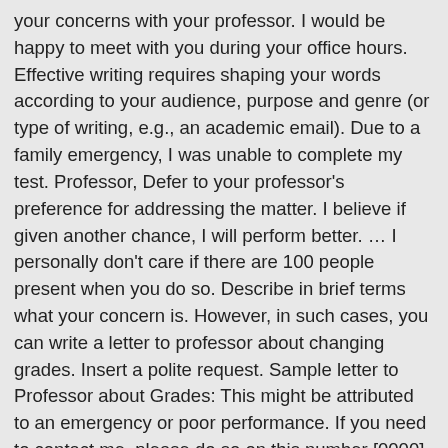your concerns with your professor. I would be happy to meet with you during your office hours. Effective writing requires shaping your words according to your audience, purpose and genre (or type of writing, e.g., an academic email). Due to a family emergency, I was unable to complete my test. Professor, Defer to your professor's preference for addressing the matter. I believe if given another chance, I will perform better. … I personally don't care if there are 100 people present when you do so. Describe in brief terms what your concern is. However, in such cases, you can write a letter to professor about changing grades. Insert a polite request. Sample letter to Professor about Grades: This might be attributed to an emergency or poor performance. If you need to contact me, please do so on this number [0000] or email me at [email]. Hi I was wondering how do I send an email to my professor about a grade I received on my final exam that I was not expecting. The assignment you issued on 20th February in 2018 to be turned in on 1st March 2018 collided with the school's sports calendar. If he doesn't call or email you before your next class, make sure at the end of your class to take a moment to speak with him after the other